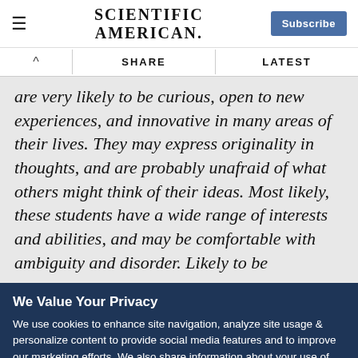SCIENTIFIC AMERICAN.
are very likely to be curious, open to new experiences, and innovative in many areas of their lives. They may express originality in thoughts, and are probably unafraid of what others might think of their ideas. Most likely, these students have a wide range of interests and abilities, and may be comfortable with ambiguity and disorder. Likely to be
We Value Your Privacy
We use cookies to enhance site navigation, analyze site usage & personalize content to provide social media features and to improve our marketing efforts. We also share information about your use of our site with our social media, advertising and analytics partners. To opt out of website cookies or otherwise manage your cookie settings, click on Cookie Settings. View O